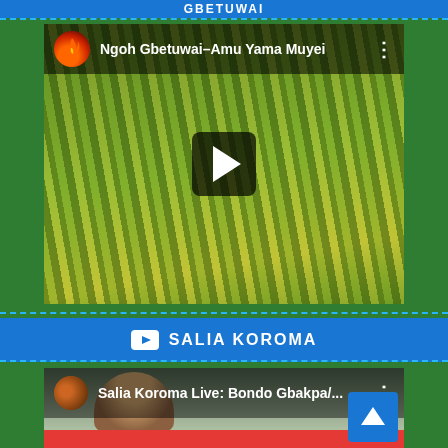GBETUWAI
[Figure (screenshot): YouTube video thumbnail for 'Ngoh Gbetuwai–Amu Yama Muyei' showing rice field in background with play button overlay and channel icon with flame logo]
SALIA KOROMA
[Figure (screenshot): YouTube video thumbnail for 'Salia Koroma Live: Bondo Gbakpa/...' showing partial view of a person, with red bar at bottom and scroll-to-top button overlay]